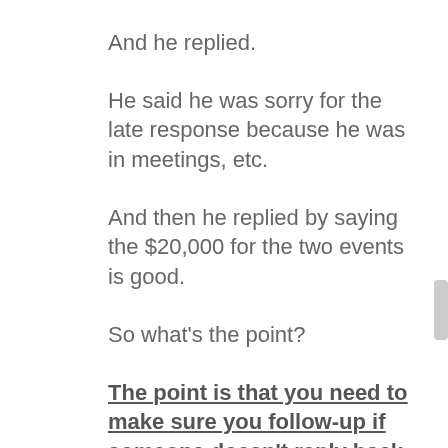And he replied.
He said he was sorry for the late response because he was in meetings, etc.
And then he replied by saying the $20,000 for the two events is good.
So what’s the point?
The point is that you need to make sure you follow-up if someone doesn’t reply back. That one email, the one follow-up, is responsible for $20,000.
(Do not let someone reply to follow...